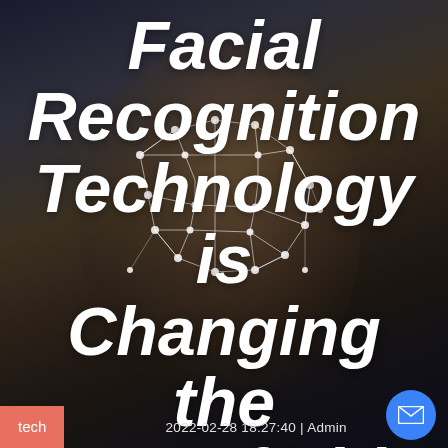[Figure (photo): Dark background with a person's face overlaid with a facial recognition mesh/dot grid pattern. The image serves as the background for the entire page.]
Facial Recognition Technology is Changing the Face of Vide
tech   2022-02-28 18:27:40 | Admin